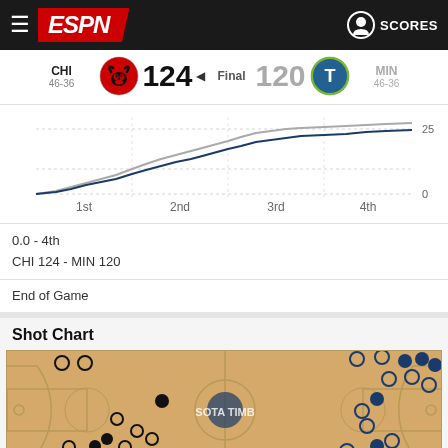ESPN SCORES
CHI 46-36 124 Final 120 MIN 46-36
[Figure (line-chart): Score progression by quarter]
0.0 - 4th
CHI 124 - MIN 120
End of Game
Shot Chart
[Figure (other): Basketball shot chart showing CHI (black circles) and MIN (blue circles) shot locations on a half-court diagram. Left half shows CHI shots, right half shows MIN shots.]